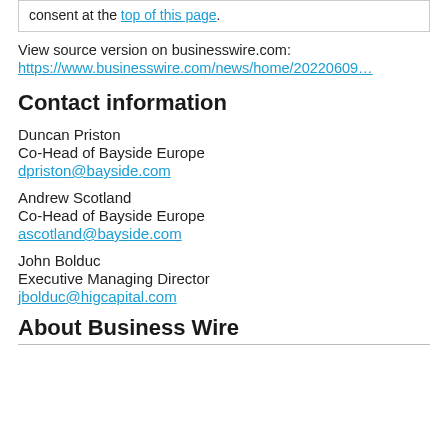consent at the top of this page.
View source version on businesswire.com:
https://www.businesswire.com/news/home/20220609…
Contact information
Duncan Priston
Co-Head of Bayside Europe
dpriston@bayside.com
Andrew Scotland
Co-Head of Bayside Europe
ascotland@bayside.com
John Bolduc
Executive Managing Director
jbolduc@higcapital.com
About Business Wire